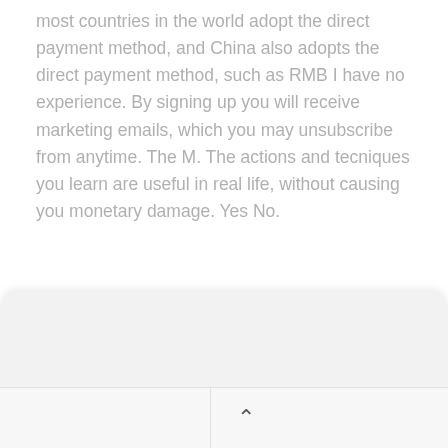most countries in the world adopt the direct payment method, and China also adopts the direct payment method, such as RMB I have no experience. By signing up you will receive marketing emails, which you may unsubscribe from anytime. The M. The actions and tecniques you learn are useful in real life, without causing you monetary damage. Yes No.
[Figure (other): A rounded card or panel UI element with a light gray background, partially visible, overlapping the lower portion of the page.]
[Figure (other): A bottom navigation bar with three sections: left blank area, center section with an upward-pointing chevron/caret icon, and right blank area.]